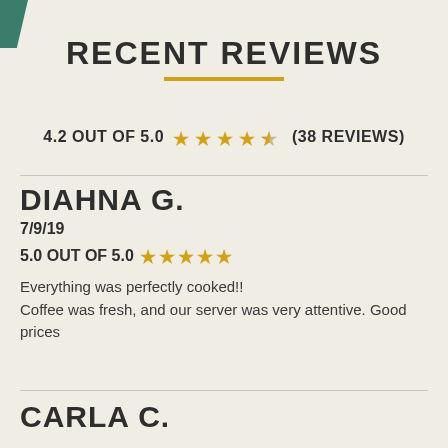RECENT REVIEWS
4.2 OUT OF 5.0 ★★★★½ (38 REVIEWS)
DIAHNA G.
7/9/19
5.0 OUT OF 5.0 ★★★★★
Everything was perfectly cooked!! Coffee was fresh, and our server was very attentive. Good prices
CARLA C.